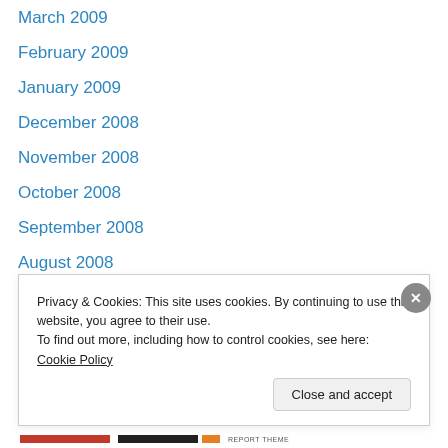March 2009
February 2009
January 2009
December 2008
November 2008
October 2008
September 2008
August 2008
July 2008
June 2008
May 2008
April 2008
March 2008
February 2008
Privacy & Cookies: This site uses cookies. By continuing to use this website, you agree to their use. To find out more, including how to control cookies, see here: Cookie Policy
Close and accept